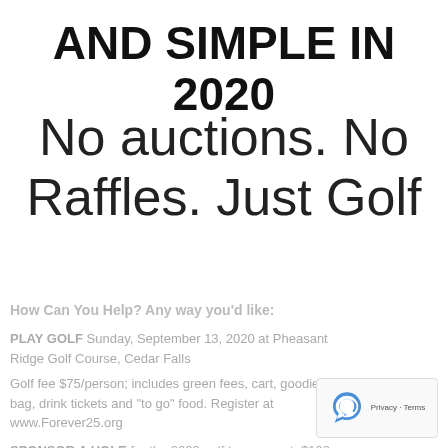AND SIMPLE IN 2020
No auctions. No Raffles. Just Golf
How Can You Help? Any way you'd like:
PLAY GOLF Sunday, September 13, 2020 at Pheasant Ridge Golf Course, Cedar Falls
Golf fee $75/person; includes green fees, cart, goodie bag, drink tickets and "to go" food. Register at www.Forever25.org
SPONSOR A HOLE for the 2020 golf tournament. $100 tax-deductible. (See form below)
[Figure (logo): reCAPTCHA badge with Privacy - Terms text]